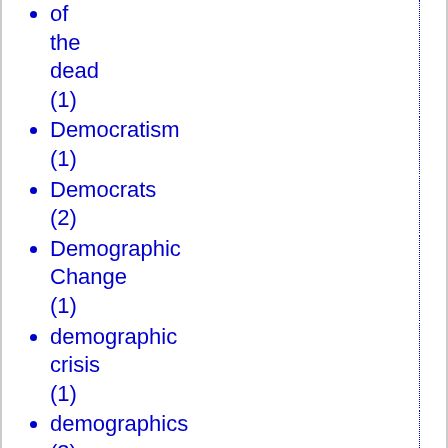of the dead (1)
Democratism (1)
Democrats (2)
Demographic Change (1)
demographic crisis (1)
demographics (3)
Demon Deacons (1)
Denver Broncos (1)
Denver Nuggets (1)
Department